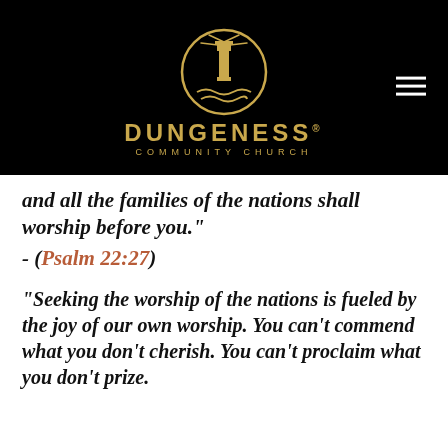[Figure (logo): Dungeness Community Church logo — circular gold lighthouse emblem on black background with the church name below in gold lettering]
and all the families of the nations shall worship before you."
- (Psalm 22:27)
"Seeking the worship of the nations is fueled by the joy of our own worship. You can't commend what you don't cherish. You can't proclaim what you don't prize.